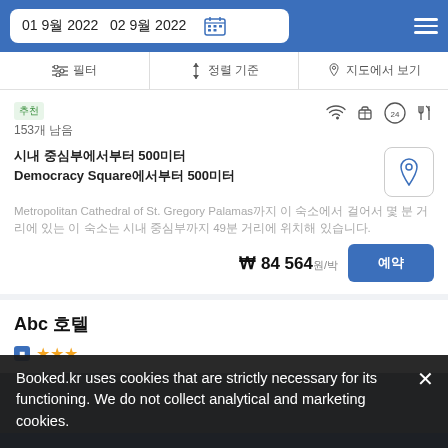01 9월 2022   02 9월 2022
필터   정렬 기준   지도에서 보기
추천
153개 남음
시내 중심부에서부터 500미터
Democracy Square에서부터 500미터
Metropolitan Cathedral of St. Gregory Palamas까지 이 숙소에서 걸어서 몇 분 거리에 있는 이 숙소는 시내 중심부까지 49분 거리에 위치해 있습니다.
₩ 84 564원/박
예약
Abc 호텔
★★★
Booked.kr uses cookies that are strictly necessary for its functioning. We do not collect analytical and marketing cookies.